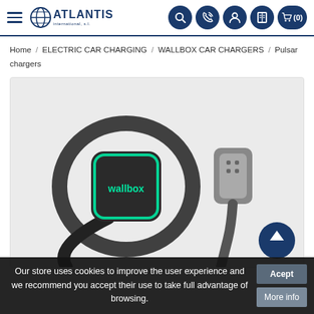ATLANTIS international, s.l. — Navigation with search, phone, account, catalogue, and cart (0) icons
Home / ELECTRIC CAR CHARGING / WALLBOX CAR CHARGERS / Pulsar chargers
[Figure (photo): Product photo of a Wallbox Pulsar electric car charger — a compact black square unit with a glowing teal LED border and 'wallbox' branding, with a coiled cable and a Type 2 connector plugged into a wall socket, photographed against a light grey background]
Our store uses cookies to improve the user experience and we recommend you accept their use to take full advantage of browsing.